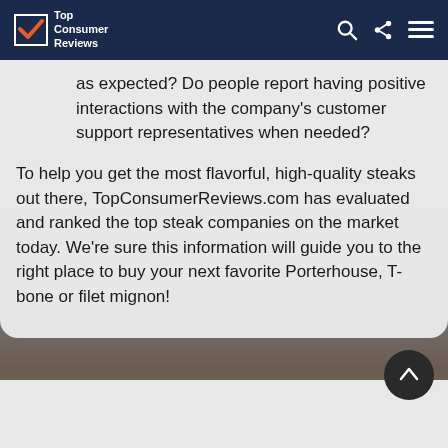Top Consumer Reviews
as expected? Do people report having positive interactions with the company's customer support representatives when needed?
To help you get the most flavorful, high-quality steaks out there, TopConsumerReviews.com has evaluated and ranked the top steak companies on the market today. We're sure this information will guide you to the right place to buy your next favorite Porterhouse, T-bone or filet mignon!
[Figure (photo): Blurred background photo of a person, partially visible at bottom of page]